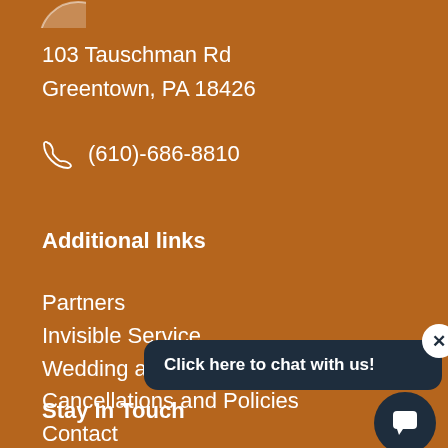[Figure (logo): Partial circular logo visible at top of page]
103 Tauschman Rd
Greentown, PA 18426
(610)-686-8810
Additional links
Partners
Invisible Service
Wedding and Events
Cancellations and Policies
Contact
Stay In Touch
[Figure (other): Chat popup overlay with close button and text 'Click here to chat with us!' and dark circular chat bubble button]